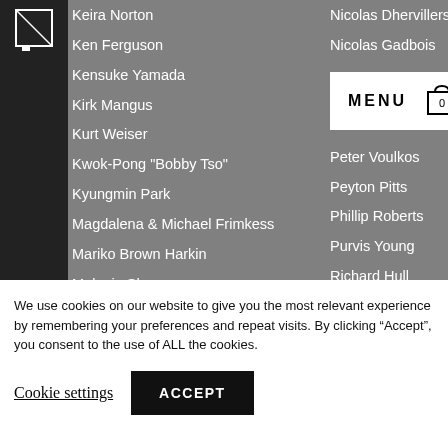Keira Norton
Ken Ferguson
Kensuke Yamada
Kirk Mangus
Kurt Weiser
Kwok-Pong "Bobby Tso"
Kyungmin Park
Magdalena & Michael Frimkess
Mariko Brown Harkin
Melanie Sherman
Michael Lucero
Michael Stumbras
Nicolas Dhervillers
Nicolas Gadbois
Peter Voulkos
Peyton Pitts
Phillip Roberts
Purvis Young
Richard Hull
Richard Merkle
Robert Arneson
Russell Shoemaker
Ryan Wilks
We use cookies on our website to give you the most relevant experience by remembering your preferences and repeat visits. By clicking “Accept”, you consent to the use of ALL the cookies.
Cookie settings
ACCEPT